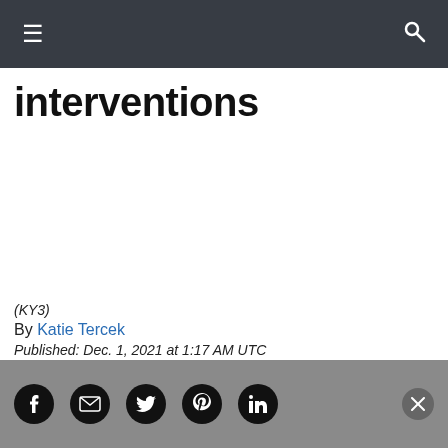≡  🔍
interventions
(KY3)
By Katie Tercek
Published: Dec. 1, 2021 at 1:17 AM UTC